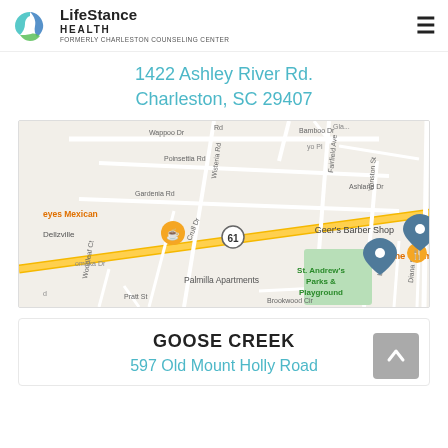LifeStance Health — Formerly Charleston Counseling Center
1422 Ashley River Rd.
Charleston, SC 29407
[Figure (map): Google Maps view centered near 1422 Ashley River Rd, Charleston SC 29407, showing surrounding streets including Wappoo Dr, Poinsettia Rd, Gardenia Rd, Wisteria Rd, Fairfield Ave, Winston St, and nearby landmarks including Geer's Barber Shop, Home Team BBQ, St. Andrew's Parks & Playground, Palmilla Apartments, Dellzville, and a location pin.]
GOOSE CREEK
597 Old Mount Holly Road